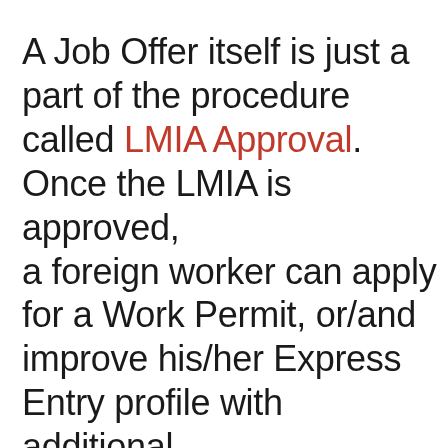A Job Offer itself is just a part of the procedure called LMIA Approval. Once the LMIA is approved, a foreign worker can apply for a Work Permit, or/and improve his/her Express Entry profile with additional points.